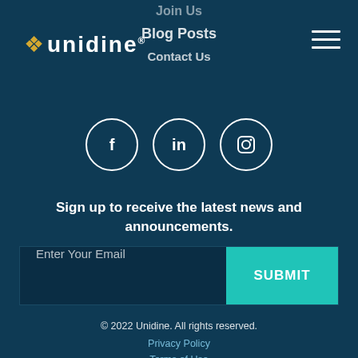[Figure (logo): Unidine logo with decorative golden swirl icon and white text on dark teal background]
Join Us
Blog Posts
Contact Us
[Figure (infographic): Three circular social media icons: Facebook (f), LinkedIn (in), Instagram (camera outline)]
Sign up to receive the latest news and announcements.
Enter Your Email  SUBMIT
© 2022 Unidine. All rights reserved.
Privacy Policy
Terms of Use
Terms Privacy Request